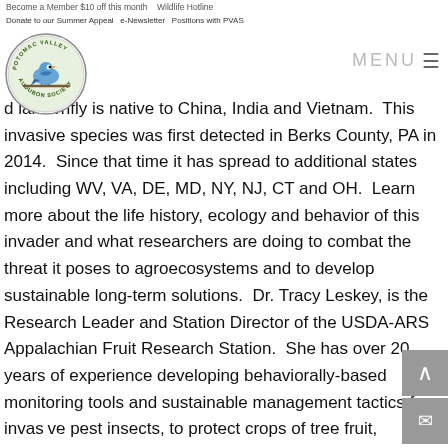Become a Member $10 off this month   Wildlife Hotline
Donate to our Summer Appeal   e-Newsletter   Positions with PVAS
[Figure (logo): Potomac Valley Audubon Society circular logo with bird on branch]
MENU ≡
d lanternfly is native to China, India and Vietnam. This invasive species was first detected in Berks County, PA in 2014. Since that time it has spread to additional states including WV, VA, DE, MD, NY, NJ, CT and OH. Learn more about the life history, ecology and behavior of this invader and what researchers are doing to combat the threat it poses to agroecosystems and to develop sustainable long-term solutions. Dr. Tracy Leskey, is the Research Leader and Station Director of the USDA-ARS Appalachian Fruit Research Station. She has over 20 years of experience developing behaviorally-based monitoring tools and sustainable management tactics for invasive pest insects, to protect crops of tree fruit,